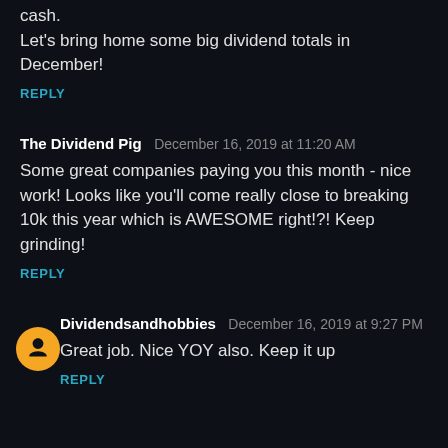cash.
Let's bring home some big dividend totals in December!
REPLY
The Dividend Pig   December 16, 2019 at 11:20 AM
Some great companies paying you this month - nice work! Looks like you'll come really close to breaking 10k this year which is AWESOME right!?! Keep grinding!
REPLY
Dividendsandhobbies   December 16, 2019 at 9:27 PM
Great job. Nice YOY also. Keep it up
REPLY